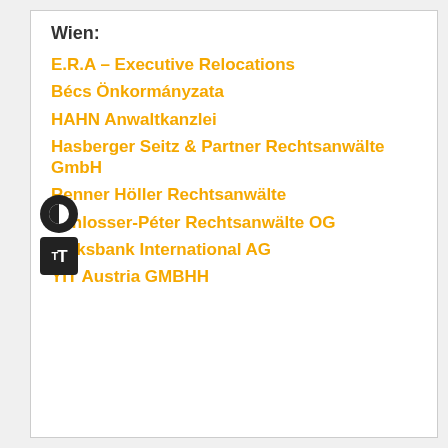Wien:
E.R.A – Executive Relocations
Bécs Önkormányzata
HAHN Anwaltkanzlei
Hasberger Seitz & Partner Rechtsanwälte GmbH
Renner Höller Rechtsanwälte
Schlosser-Péter Rechtsanwälte OG
Volksbank International AG
YIT Austria GMBHH